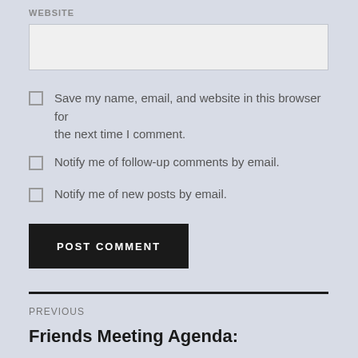WEBSITE
Save my name, email, and website in this browser for the next time I comment.
Notify me of follow-up comments by email.
Notify me of new posts by email.
POST COMMENT
PREVIOUS
Friends Meeting Agenda: